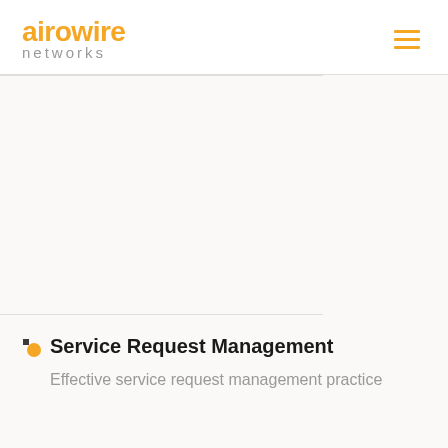[Figure (logo): Airowire Networks logo with orange 'airowire' text and grey 'networks' text below]
[Figure (other): Hamburger menu icon with three orange horizontal lines]
Service Request Management
Effective service request management practice